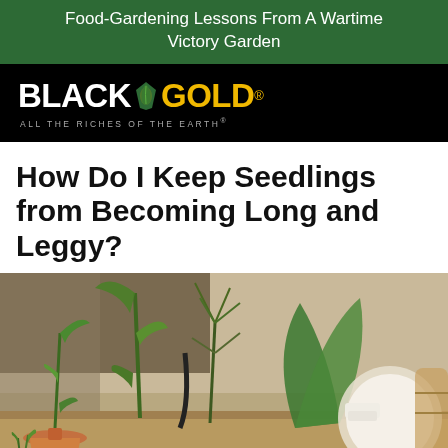Food-Gardening Lessons From A Wartime Victory Garden
[Figure (logo): Black Gold logo — black background, text 'BLACK GOLD' with leaf icon, tagline 'ALL THE RICHES OF THE EARTH']
How Do I Keep Seedlings from Becoming Long and Leggy?
[Figure (photo): Photo of indoor seedlings in terracotta pots on a table, showing tall leggy plants, surrounded by other houseplants and items.]